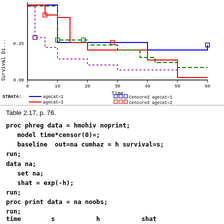[Figure (continuous-plot): Kaplan-Meier survival curves for four age categories (agecat=1,2,3,4) with censored observations shown as open squares. Y-axis: Survival Distribution from 0.00 to 0.25 (partial view). X-axis: Time from 0 to 60. Legend shows STRATA with line styles (blue solid, red solid, green dashed, purple dashed) and censored markers.]
Table 2.17, p. 76.
proc phreg data = hmohiv noprint;
   model time*censor(0)=;
   baseline  out=na cumhaz = h survival=s;
run;
data na;
   set na;
   shat = exp(-h);
run;
proc print data = na noobs;
run;
time        s           h           shat